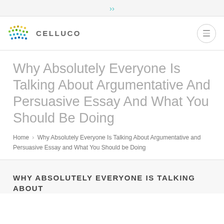«chevron down»
[Figure (logo): Celluco logo with colorful dots grid and text CELLUCO]
Why Absolutely Everyone Is Talking About Argumentative And Persuasive Essay And What You Should Be Doing
Home › Why Absolutely Everyone Is Talking About Argumentative and Persuasive Essay and What You Should be Doing
WHY ABSOLUTELY EVERYONE IS TALKING ABOUT